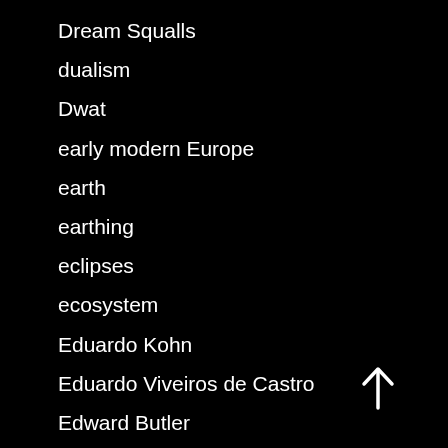Dream Squalls
dualism
Dwat
early modern Europe
earth
earthing
eclipses
ecosystem
Eduardo Kohn
Eduardo Viveiros de Castro
Edward Butler
[Figure (illustration): Upward arrow icon in white, indicating scroll to top or navigation upward]